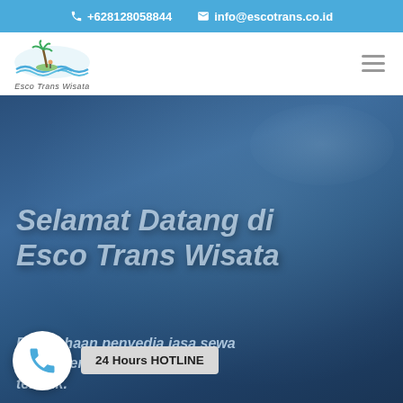+628128058844   info@escotrans.co.id
[Figure (logo): Esco Trans Wisata logo with tropical island and waves illustration above the text 'Esco Trans Wisata']
Selamat Datang di Esco Trans Wisata
Perusahaan penyedia jasa sewa BIk terpercah berpercaya terbaik.
24 Hours HOTLINE